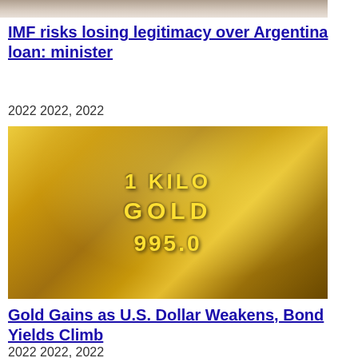[Figure (photo): Cropped photo at top of page, partially visible person in background]
IMF risks losing legitimacy over Argentina loan: minister
2022 2022, 2022
[Figure (photo): Close-up photograph of a 1 kilo gold bar stamped with '1 KILO GOLD 995.0']
Gold Gains as U.S. Dollar Weakens, Bond Yields Climb
2022 2022, 2022